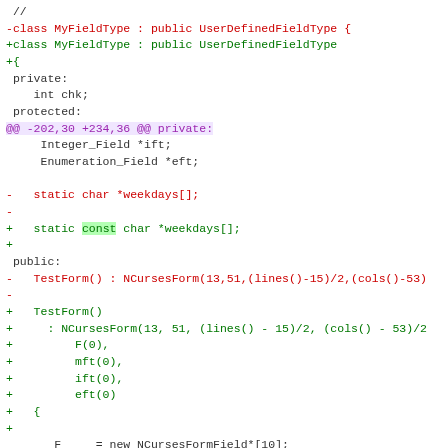[Figure (screenshot): A unified diff view of C++ source code showing changes to a class MyFieldType. Red lines show removed code, green lines show added code, with a diff hunk header in purple. Highlights show specific changed tokens.]